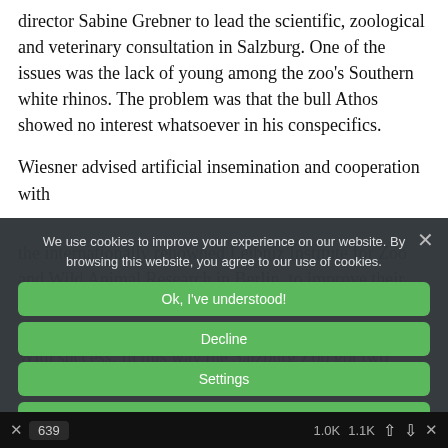director Sabine Grebner to lead the scientific, zoological and veterinary consultation in Salzburg. One of the issues was the lack of young among the zoo's Southern white rhinos. The problem was that the bull Athos showed no interest whatsoever in his conspecifics.
Wiesner advised artificial insemination and cooperation with
the internationally renowned Leibniz Institute for Zoo and Wild Animal Research in Berlin, to improve their breeding and husbandry practices and to develop special phytotherapy to simulate the male and female cycle. With success: In this way the Salzburg Zoo got two calves which have developed wonderfully and are now old enough to produce offspring in another zoo.
[Figure (screenshot): Cookie consent modal overlay with dark background containing message 'We use cookies to improve your experience on our website. By browsing this website, you agree to our use of cookies.' and four green buttons: 'Ok, I've understood!', 'Decline', 'Settings', 'More Info'. A close X button is in the top right.]
In December 2017, the rhino cow Olivia, Teli and bull...
X   639   1.0K   1.1K